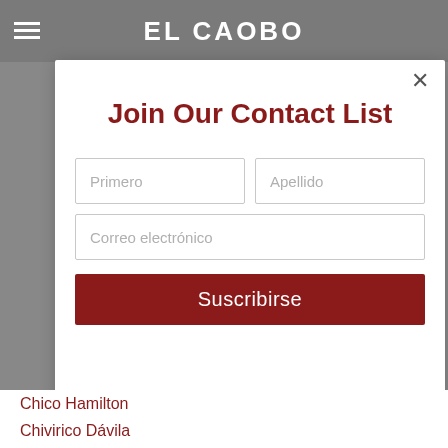EL CAOBO
Join Our Contact List
Primero
Apellido
Correo electrónico
Suscribirse
Chico Hamilton
Chivirico Dávila